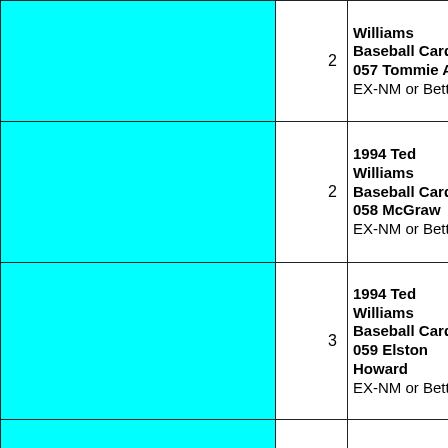|  | 2 | Williams Baseball Cards 057 Tommie Ag EX-NM or Better |
|  | 2 | 1994 Ted Williams Baseball Cards 058 McGraw EX-NM or Better |
|  | 3 | 1994 Ted Williams Baseball Cards 059 Elston Howard EX-NM or Better |
|  | 3 | 1994 Ted Williams Baseball Cards 060 Sparky Ly EX-NM or |